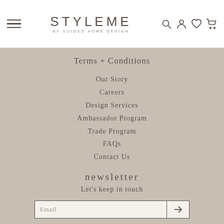STYLEME BY GUIDED HOME DESIGN — navigation header with hamburger menu, logo, and icons
Terms + Conditions
Our Story
Careers
Design Services
Ambassador Program
Trade Program
FAQs
Contact Us
newsletter
Let's keep in touch